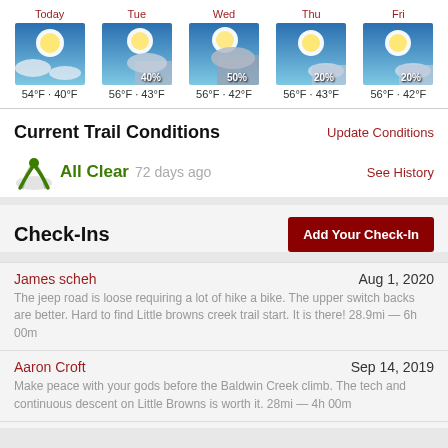[Figure (infographic): 5-day weather forecast showing Today (54F/40F), Tue 40% (56F/43F), Wed 50% (56F/42F), Thu 20% (56F/43F), Fri 20% (56F/42F)]
Current Trail Conditions
Update Conditions
All Clear  72 days ago
See History
Check-Ins
Add Your Check-In
James scheh
Aug 1, 2020
The jeep road is loose requiring a lot of hike a bike. The upper switch backs are better. Hard to find Little browns creek trail start. It is there! 28.9mi — 6h 00m
Aaron Croft
Sep 14, 2019
Make peace with your gods before the Baldwin Creek climb. The tech and continuous descent on Little Browns is worth it. 28mi — 4h 00m